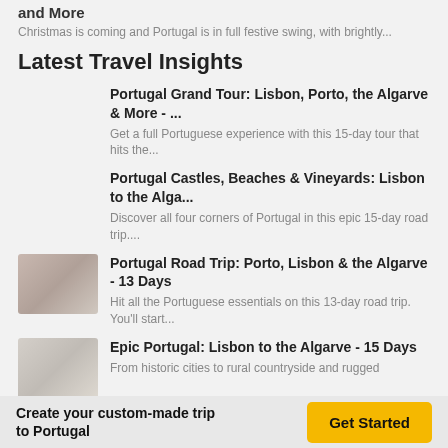and More - ...
Christmas is coming and Portugal is in full festive swing, with brightly...
Latest Travel Insights
Portugal Grand Tour: Lisbon, Porto, the Algarve & More - ...
Get a full Portuguese experience with this 15-day tour that hits the...
Portugal Castles, Beaches & Vineyards: Lisbon to the Alga...
Discover all four corners of Portugal in this epic 15-day road trip....
Portugal Road Trip: Porto, Lisbon & the Algarve - 13 Days
Hit all the Portuguese essentials on this 13-day road trip. You'll start...
Epic Portugal: Lisbon to the Algarve - 15 Days
From historic cities to rural countryside and rugged
Create your custom-made trip to Portugal